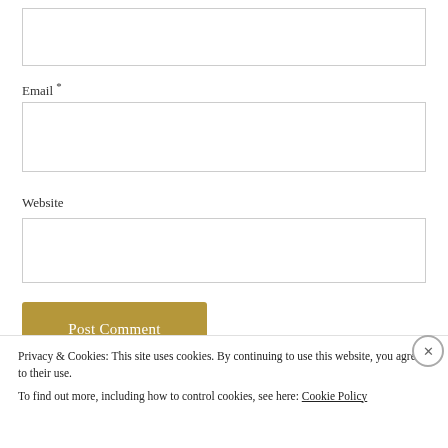[Figure (screenshot): Empty text input field at top of form]
Email *
[Figure (screenshot): Empty email input field]
Website
[Figure (screenshot): Empty website input field]
[Figure (screenshot): Post Comment button in golden/olive color]
Privacy & Cookies: This site uses cookies. By continuing to use this website, you agree to their use.
To find out more, including how to control cookies, see here: Cookie Policy
[Figure (screenshot): Close and accept button]
[Figure (screenshot): Bottom strip with thumbnail images]